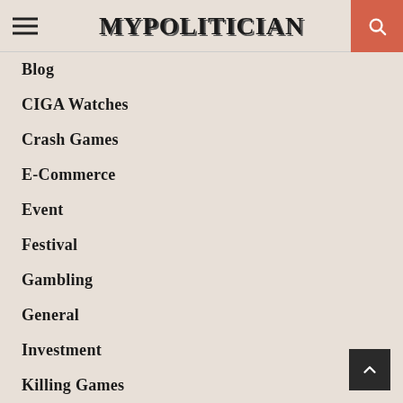MYPOLITICIAN
Blog
CIGA Watches
Crash Games
E-Commerce
Event
Festival
Gambling
General
Investment
Killing Games
KL Girl
Men's Supplements
Mobile App
SEO